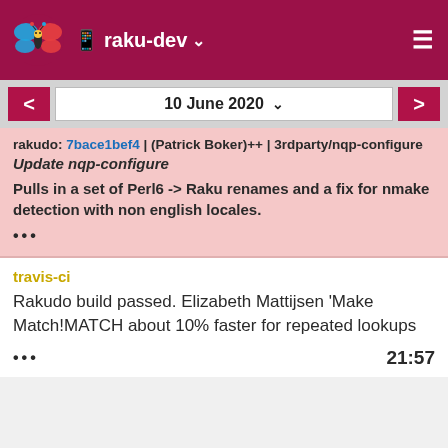raku-dev
10 June 2020
rakudo: 7bace1bef4 | (Patrick Boker)++ | 3rdparty/nqp-configure
Update nqp-configure

Pulls in a set of Perl6 -> Raku renames and a fix for nmake detection with non english locales.

...
travis-ci

Rakudo build passed. Elizabeth Mattijsen 'Make Match!MATCH about 10% faster for repeated lookups

...   21:57